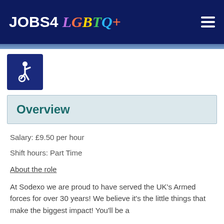JOBS4 LGBTQ+
[Figure (logo): Accessibility wheelchair icon in white on dark blue background]
Overview
Salary: £9.50 per hour
Shift hours: Part Time
About the role
At Sodexo we are proud to have served the UK's Armed forces for over 30 years! We believe it's the little things that make the biggest impact! You'll be a